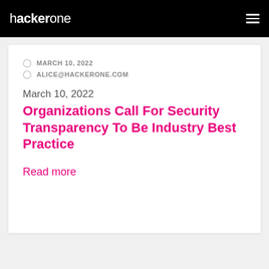hackerone
MARCH 10, 2022
ALICE@HACKERONE.COM
March 10, 2022
Organizations Call For Security Transparency To Be Industry Best Practice
Read more